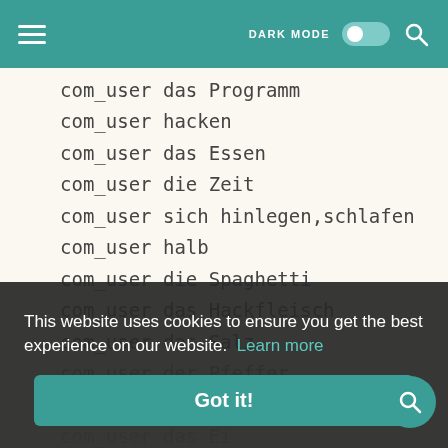DARK MODE [toggle] [search]
com_user das Programm
com_user hacken
com_user das Essen
com_user die Zeit
com_user sich hinlegen,schlafen
com_user halb
com_user die Spaghetti
com_user das Hackfleisch
com_user das Salz
com_user der Pfeffer
com_user das Ei
com_user die Flasche
com_user das Brot
This website uses cookies to ensure you get the best experience on our website. Learn more Got it!